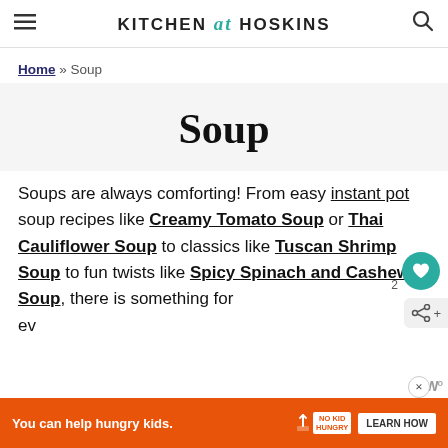Kitchen at Hoskins
Home » Soup
Soup
Soups are always comforting! From easy instant pot soup recipes like Creamy Tomato Soup or Thai Cauliflower Soup to classics like Tuscan Shrimp Soup to fun twists like Spicy Spinach and Cashew Soup, there is something for every
[Figure (infographic): Advertisement banner: 'You can help hungry kids.' with No Kid Hungry logo and LEARN HOW button on orange background]